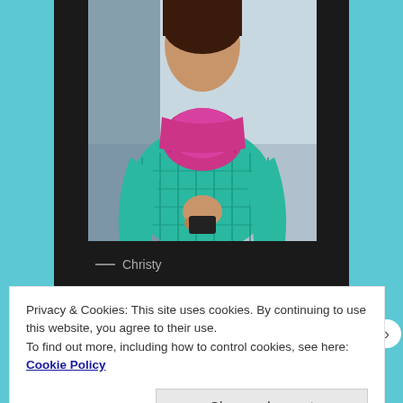[Figure (photo): Person wearing a teal/turquoise puffer jacket and pink/magenta scarf, outdoors in snowy conditions, holding something, photographed from mid-torso up against a snowy background.]
— Christy
After very little snow, we got a fresh 10" or so overnight and I was out the door as soon as the lifts were running.
Privacy & Cookies: This site uses cookies. By continuing to use this website, you agree to their use.
To find out more, including how to control cookies, see here: Cookie Policy
Close and accept